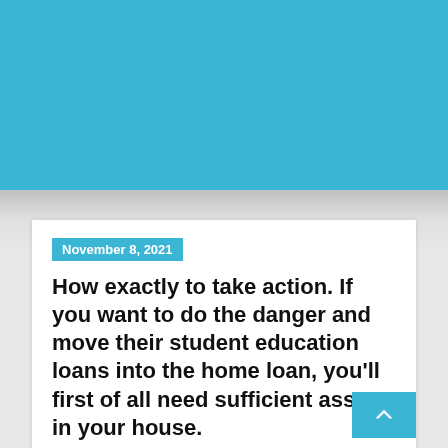November 8, 2021
How exactly to take action. If you want to do the danger and move their student education loans into the home loan, you'll first of all need sufficient assets in your house.
Von Jonny in easy money payday loans